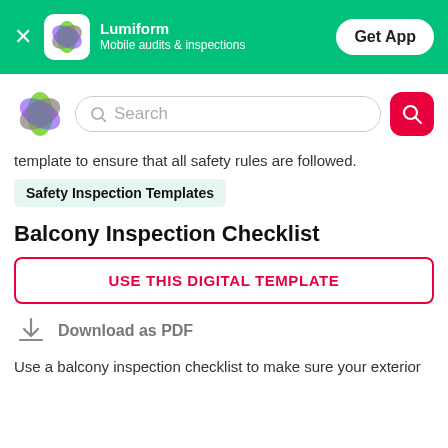Lumiform — Mobile audits & inspections — Get App
[Figure (screenshot): Search bar with Lumiform logo and red search button]
template to ensure that all safety rules are followed.
Safety Inspection Templates
Balcony Inspection Checklist
USE THIS DIGITAL TEMPLATE
Download as PDF
Use a balcony inspection checklist to make sure your exterior